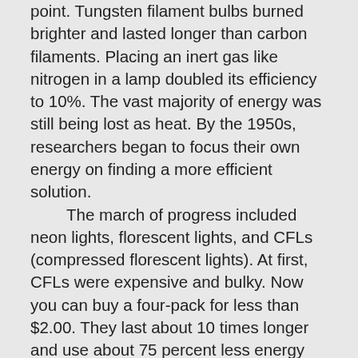point. Tungsten filament bulbs burned brighter and lasted longer than carbon filaments. Placing an inert gas like nitrogen in a lamp doubled its efficiency to 10%. The vast majority of energy was still being lost as heat. By the 1950s, researchers began to focus their own energy on finding a more efficient solution.
	The march of progress included neon lights, florescent lights, and CFLs (compressed florescent lights). At first, CFLs were expensive and bulky. Now you can buy a four-pack for less than $2.00. They last about 10 times longer and use about 75 percent less energy than incandescents.
	Enter LED, a light emitting diode. They don't get hot, which is proof of their efficiency. Their energy is converted to photons, not heat. They last up to 30 times longer than an incandescent bulb. They can be made with epoxy lenses instead of glass, so they're much less likely to break. (The discussion of epoxy requires a blog post of its own!)
	And now new rules put LEDs in the forefront of energy conservation.